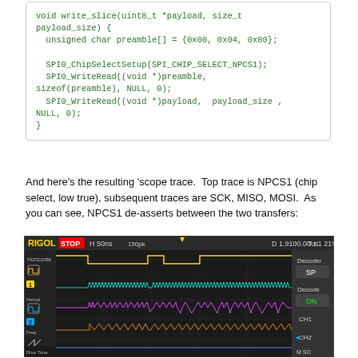[Figure (screenshot): Code block showing write_slice function in C with SPI0 chip select and write-read calls]
And here's the resulting 'scope trace.  Top trace is NPCS1 (chip select, low true), subsequent traces are SCK, MISO, MOSI.  As you can see, NPCS1 de-asserts between the two transfers:
[Figure (screenshot): RIGOL oscilloscope screenshot showing STOP mode, H 50ns, 4 channel traces: NPCS1 (yellow, chip select low true), SCK (teal), MISO (teal/pink), MOSI (pink), with Decoder SPI Decode ON CH1 CH2 panel on right]